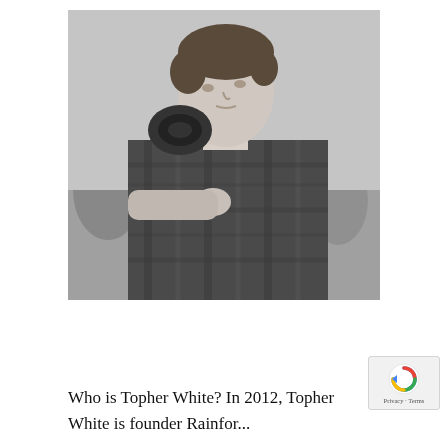[Figure (photo): Black and white photograph of a young man wearing a plaid flannel shirt, carrying a coiled rope or hose over his shoulder, looking upward. Outdoor background with trees visible.]
Who is Topher White? In 2012, Topher White is founder Rainfor...